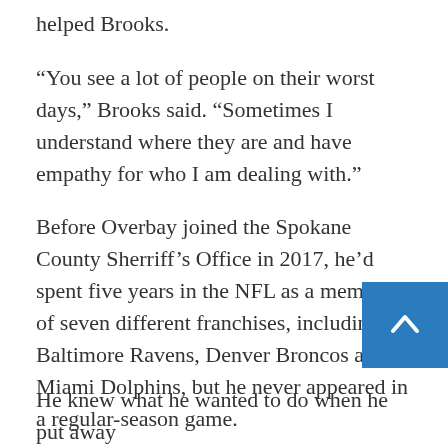helped Brooks.
“You see a lot of people on their worst days,” Brooks said. “Sometimes I understand where they are and have empathy for who I am dealing with.”
Before Overbay joined the Spokane County Sherriff’s Office in 2017, he’d spent five years in the NFL as a member of seven different franchises, including the Baltimore Ravens, Denver Broncos and Miami Dolphins, but he never appeared in a regular-season game.
Overbay was an All-American at EWU in 2009 where he studied criminal justice.
He knew what he wanted to do when he put away